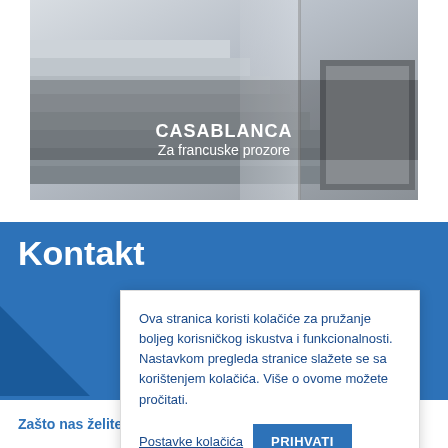[Figure (photo): Photo of modern staircase with glass balustrade, overlaid with text 'CASABLANCA / Za francuske prozore']
Kontaktirajte ProfilTehnik
Ova stranica koristi kolačiće za pružanje boljeg korisničkog iskustva i funkcionalnosti. Nastavkom pregleda stranice slažete se sa korištenjem kolačića. Više o ovome možete pročitati.
Postavke kolačića    PRIHVATI
Zašto nas želite